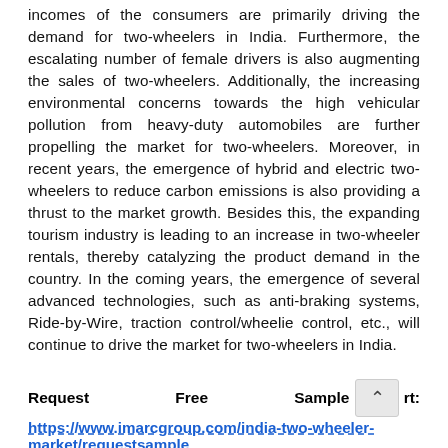incomes of the consumers are primarily driving the demand for two-wheelers in India. Furthermore, the escalating number of female drivers is also augmenting the sales of two-wheelers. Additionally, the increasing environmental concerns towards the high vehicular pollution from heavy-duty automobiles are further propelling the market for two-wheelers. Moreover, in recent years, the emergence of hybrid and electric two-wheelers to reduce carbon emissions is also providing a thrust to the market growth. Besides this, the expanding tourism industry is leading to an increase in two-wheeler rentals, thereby catalyzing the product demand in the country. In the coming years, the emergence of several advanced technologies, such as anti-braking systems, Ride-by-Wire, traction control/wheelie control, etc., will continue to drive the market for two-wheelers in India.
Request Free Sample Report: https://www.imarcgroup.com/india-two-wheeler-market/requestsample